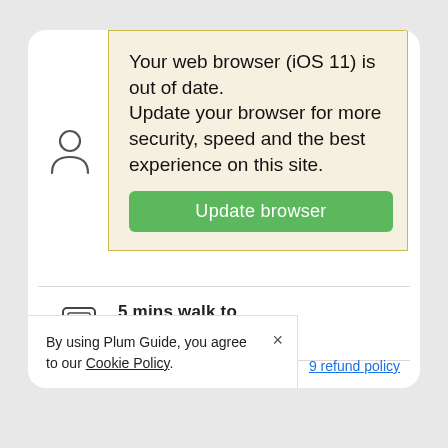The Villager
[Figure (screenshot): Browser update warning overlay with yellow background: 'Your web browser (iOS 11) is out of date. Update your browser for more security, speed and the best experience on this site.' with a green 'Update browser' button.]
5 mins walk to
8 Street Station
Get a full refund
when you cancel up until 5 days
By using Plum Guide, you agree to our Cookie Policy.
9 refund policy